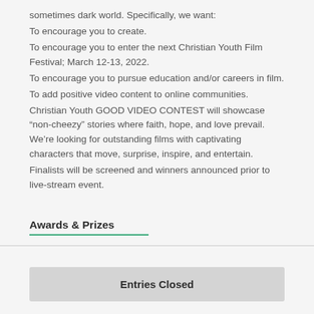sometimes dark world. Specifically, we want:
To encourage you to create.
To encourage you to enter the next Christian Youth Film Festival; March 12-13, 2022.
To encourage you to pursue education and/or careers in film.
To add positive video content to online communities.
Christian Youth GOOD VIDEO CONTEST will showcase “non-cheezy” stories where faith, hope, and love prevail. We’re looking for outstanding films with captivating characters that move, surprise, inspire, and entertain.
Finalists will be screened and winners announced prior to live-stream event.
Awards & Prizes
Entries Closed